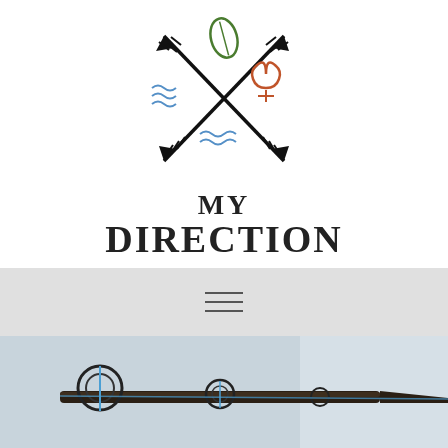[Figure (logo): MY DIRECTION logo with crossed arrows and nature icons (leaf, water waves, fire drop)]
MY DIRECTION
[Figure (other): Hamburger menu icon (three horizontal lines) on light gray background]
[Figure (photo): Close-up photo of a fishing rod with rings/guides against a light blue-gray sky background]